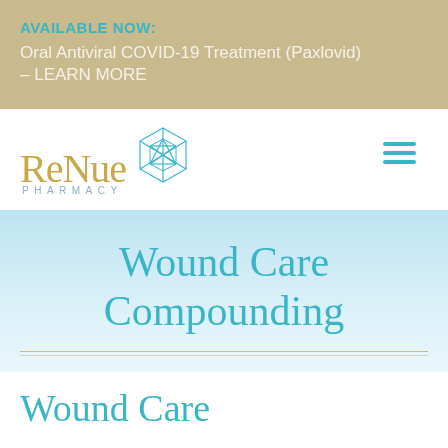AVAILABLE NOW: Oral Antiviral COVID-19 Treatment (Paxlovid) – LEARN MORE
[Figure (logo): ReNue Rx Pharmacy logo with geometric hexagonal icon in teal/blue, pharmacy name in gold serif font with PHARMACY in teal spaced caps below]
Wound Care Compounding
Wound Care